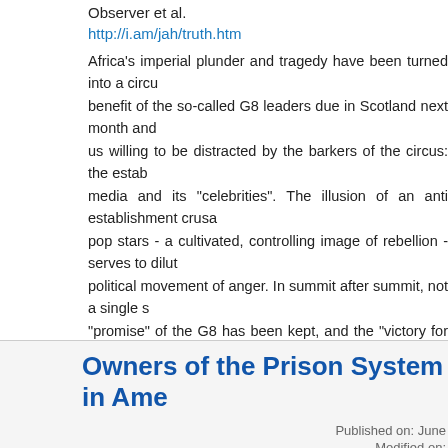Observer et al.
http://i.am/jah/truth.htm
Africa's imperial plunder and tragedy have been turned into a circus for the benefit of the so-called G8 leaders due in Scotland next month and those among us willing to be distracted by the barkers of the circus: the establishment media and its "celebrities". The illusion of an anti establishment crusade by pop stars - a cultivated, controlling image of rebellion - serves to dilute a political movement of anger. In summit after summit, not a single so-called "promise" of the G8 has been kept, and the "victory for millions" is no victory. It is a fraud - actually a setback to reducing poverty in Africa. It is conditional on vicious, discredited economic programmes imposed by the World Bank and the IMF, the "package" will ensure that the "chosen" countries slip deeper into poverty.
Read more   4614 reads
( categories:  NWO  Money, Banking, The
Owners of the Prison System in America
Published on: June
Modified on: